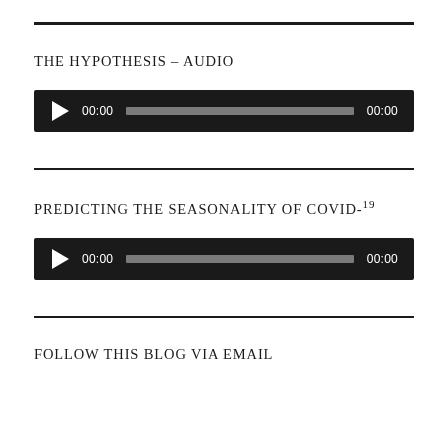THE HYPOTHESIS – AUDIO
[Figure (other): Audio player with play button, time display 00:00, progress bar, and end time 00:00 on dark background]
PREDICTING THE SEASONALITY OF COVID-19
[Figure (other): Audio player with play button, time display 00:00, progress bar, and end time 00:00 on dark background]
FOLLOW THIS BLOG VIA EMAIL